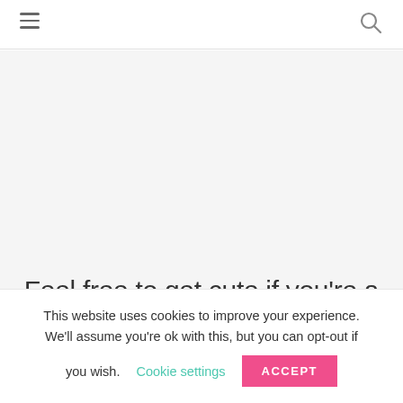Navigation header with hamburger menu and search icon
[Figure (photo): Large image placeholder area (white/light gray background)]
Feel free to get cute if you're a
This website uses cookies to improve your experience. We'll assume you're ok with this, but you can opt-out if you wish.
Cookie settings   ACCEPT